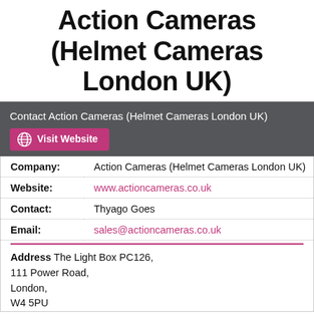Action Cameras (Helmet Cameras London UK)
Contact Action Cameras (Helmet Cameras London UK)
| Field | Value |
| --- | --- |
| Company: | Action Cameras (Helmet Cameras London UK) |
| Website: | www.actioncameras.co.uk |
| Contact: | Thyago Goes |
| Email: | sales@actioncameras.co.uk |
Address
The Light Box PC126,
111 Power Road,
London,
W4 5PU